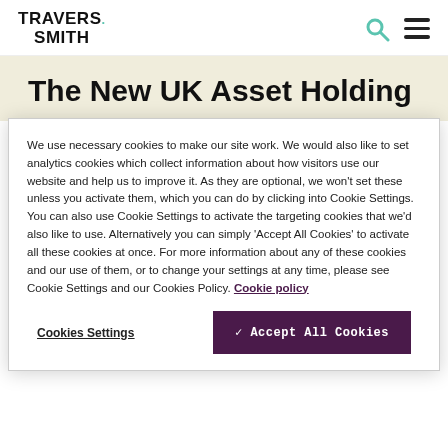TRAVERS. SMITH
The New UK Asset Holding
We use necessary cookies to make our site work. We would also like to set analytics cookies which collect information about how visitors use our website and help us to improve it. As they are optional, we won't set these unless you activate them, which you can do by clicking into Cookie Settings. You can also use Cookie Settings to activate the targeting cookies that we'd also like to use. Alternatively you can simply 'Accept All Cookies' to activate all these cookies at once. For more information about any of these cookies and our use of them, or to change your settings at any time, please see Cookie Settings and our Cookies Policy. Cookie policy
Cookies Settings
✓ Accept All Cookies